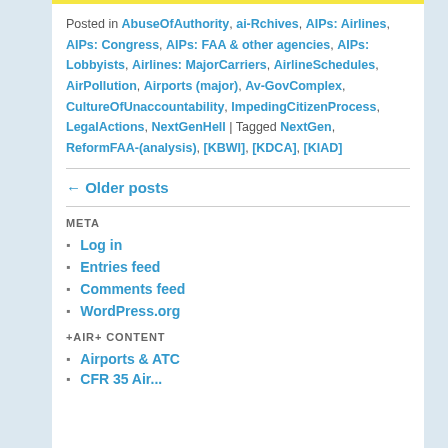Posted in AbuseOfAuthority, ai-Rchives, AIPs: Airlines, AIPs: Congress, AIPs: FAA & other agencies, AIPs: Lobbyists, Airlines: MajorCarriers, AirlineSchedules, AirPollution, Airports (major), Av-GovComplex, CultureOfUnaccountability, ImpedingCitizenProcess, LegalActions, NextGenHell | Tagged NextGen, ReformFAA-(analysis), [KBWI], [KDCA], [KIAD]
← Older posts
META
Log in
Entries feed
Comments feed
WordPress.org
+AIR+ CONTENT
Airports & ATC